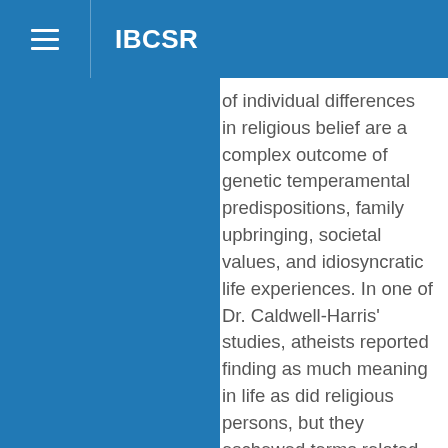IBCSR
of individual differences in religious belief are a complex outcome of genetic temperamental predispositions, family upbringing, societal values, and idiosyncratic life experiences. In one of Dr. Caldwell-Harris' studies, atheists reported finding as much meaning in life as did religious persons, but they eschewed terms related to supernaturalism (like 'spiritual'), and focused their moral concerns on the pragmatic here-and-now. Dr. Caldwell-Harris has also studied low religious belief in individuals with Asperger